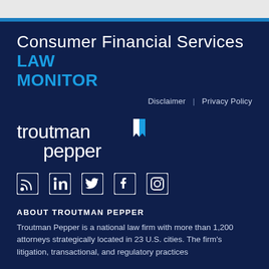Consumer Financial Services LAW MONITOR
Disclaimer | Privacy Policy
[Figure (logo): Troutman Pepper law firm logo in white text on dark navy background]
[Figure (infographic): Social media icons: RSS, LinkedIn, Twitter, Facebook, Instagram]
ABOUT TROUTMAN PEPPER
Troutman Pepper is a national law firm with more than 1,200 attorneys strategically located in 23 U.S. cities. The firm's litigation, transactional, and regulatory practices